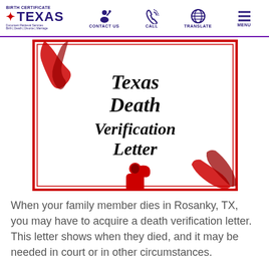Birth Certificate Texas | CONTACT US | CALL | TRANSLATE | MENU
[Figure (illustration): Texas Death Verification Letter certificate illustration with gothic text, red ribbon decorations, and a red Grim Reaper icon on a white background with red border.]
When your family member dies in Rosanky, TX, you may have to acquire a death verification letter. This letter shows when they died, and it may be needed in court or in other circumstances.